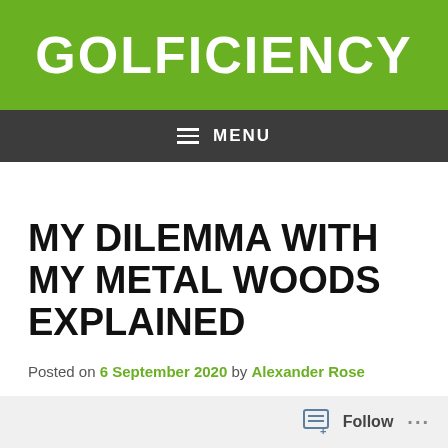GOLFICIENCY
MENU
MY DILEMMA WITH MY METAL WOODS EXPLAINED
Posted on 6 September 2020 by Alexander Rose
Follow ...